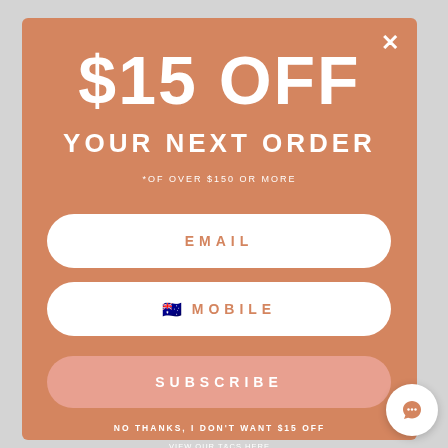$15 OFF YOUR NEXT ORDER
*OF OVER $150 OR MORE
EMAIL
MOBILE
SUBSCRIBE
NO THANKS, I DON'T WANT $15 OFF
VIEW OUR T&CS HERE